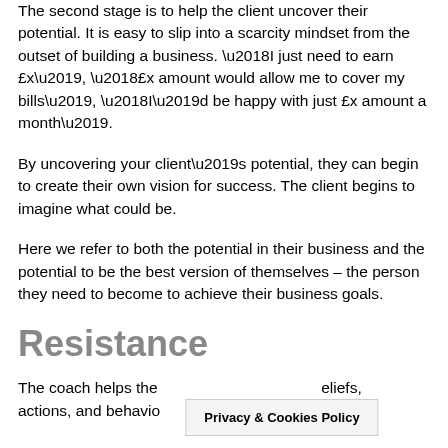The second stage is to help the client uncover their potential. It is easy to slip into a scarcity mindset from the outset of building a business. ‘I just need to earn £x’, ‘£x amount would allow me to cover my bills’, ‘I’d be happy with just £x amount a month’.
By uncovering your client’s potential, they can begin to create their own vision for success. The client begins to imagine what could be.
Here we refer to both the potential in their business and the potential to be the best version of themselves – the person they need to become to achieve their business goals.
Resistance
The coach helps the ... eliefs, actions, and behavio... g them